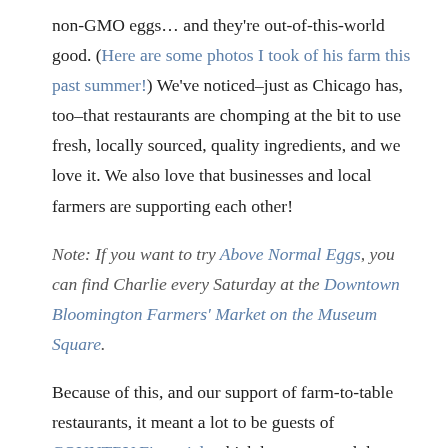non-GMO eggs… and they're out-of-this-world good. (Here are some photos I took of his farm this past summer!) We've noticed–just as Chicago has, too–that restaurants are chomping at the bit to use fresh, locally sourced, quality ingredients, and we love it. We also love that businesses and local farmers are supporting each other!
Note: If you want to try Above Normal Eggs, you can find Charlie every Saturday at the Downtown Bloomington Farmers' Market on the Museum Square.
Because of this, and our support of farm-to-table restaurants, it meant a lot to be guests of COUNTRY Financial, which has supported the agriculture industry and local farmers since 1925. While COUNTRY